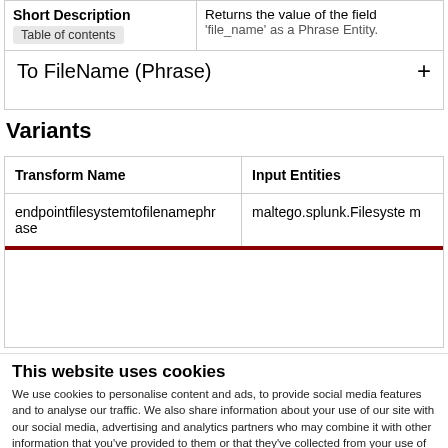| Short Description | Returns the value of the field 'file_name' as a Phrase Entity. |
| --- | --- |
| Table of contents |  |
| To FileName (Phrase) | + |
Variants
| Transform Name | Input Entities |
| --- | --- |
| endpointfilesystemtofilenamephrase | maltego.splunk.Filesystem |
This website uses cookies
We use cookies to personalise content and ads, to provide social media features and to analyse our traffic. We also share information about your use of our site with our social media, advertising and analytics partners who may combine it with other information that you've provided to them or that they've collected from your use of their services.
Accept
Necessary  Preferences  Statistics  Marketing  Settings